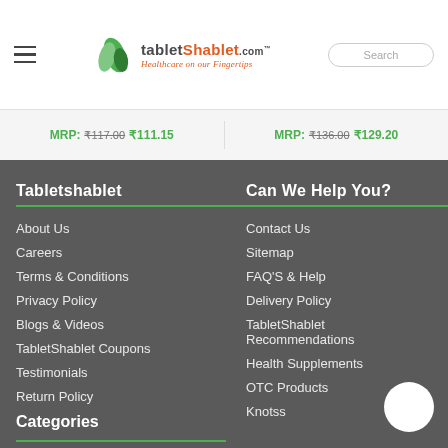tabletShablet.com — Healthcare on our Fingertips
MRP: ₹117.00 ₹111.15  MRP: ₹136.00 ₹129.20
Tabletshablet
About Us
Careers
Terms & Conditions
Privacy Policy
Blogs & Videos
TabletShablet Coupons
Testimonials
Return Policy
Can We Help You?
Contact Us
Sitemap
FAQ'S & Help
Delivery Policy
TabletShablet Recommendations
Health Supplements
OTC Products
Knotss
Categories